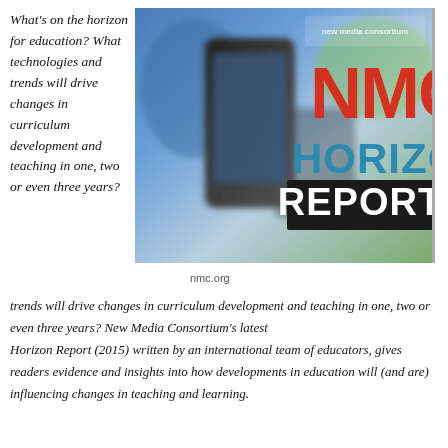What's on the horizon for education? What technologies and trends will drive changes in curriculum development and teaching in one, two or even three years? New Media Consortium's latest Horizon Report (2015) written by an international team of educators, gives readers evidence and insights into how developments in education will (and are) influencing changes in teaching and learning.
[Figure (photo): NMC Horizon Report cover image showing a person holding a smartphone with colorful NMC Horizon Report logo text overlay in red, blue, and white]
nmc.org